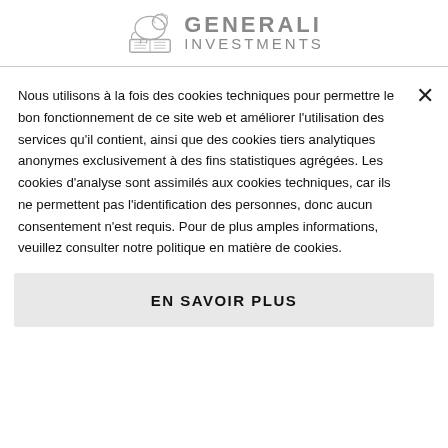[Figure (logo): Generali Investments logo with lion icon and text GENERALI INVESTMENTS]
Nous utilisons à la fois des cookies techniques pour permettre le bon fonctionnement de ce site web et améliorer l'utilisation des services qu'il contient, ainsi que des cookies tiers analytiques anonymes exclusivement à des fins statistiques agrégées. Les cookies d'analyse sont assimilés aux cookies techniques, car ils ne permettent pas l'identification des personnes, donc aucun consentement n'est requis. Pour de plus amples informations, veuillez consulter notre politique en matière de cookies.
EN SAVOIR PLUS